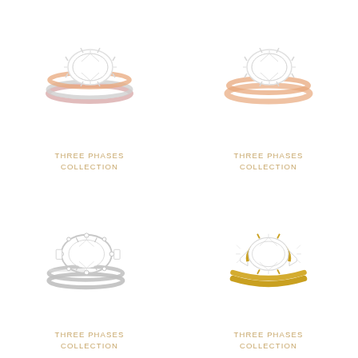[Figure (photo): Diamond engagement ring with rose gold and white gold bands, oval center stone, Three Phases Collection]
THREE PHASES
COLLECTION
[Figure (photo): Diamond engagement ring with rose gold band, oval center stone, Three Phases Collection]
THREE PHASES
COLLECTION
[Figure (photo): Diamond engagement ring in white gold/platinum with oval center stone and diamond halo, Three Phases Collection]
THREE PHASES
COLLECTION
[Figure (photo): Diamond engagement ring in yellow gold with oval center stone and tapered baguette side stones, Three Phases Collection]
THREE PHASES
COLLECTION